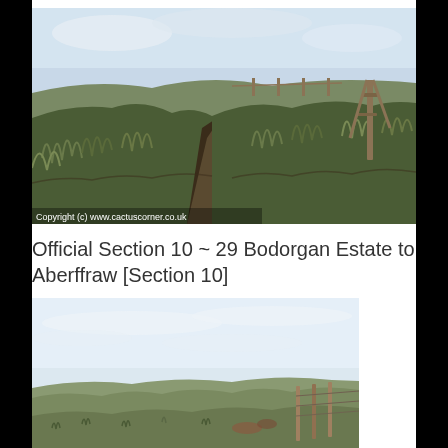[Figure (photo): Outdoor landscape photograph showing a grassy coastal path or track running between grassy mounds/dunes. A wooden fence post structure is visible on the right. Overcast sky in the background. Copyright watermark reads: Copyright (c) www.cactuscorner.co.uk]
Official Section 10 ~ 29 Bodorgan Estate to Aberffraw [Section 10]
[Figure (photo): Outdoor landscape photograph showing a coastal grassland scene with dunes, sparse vegetation, a fence post visible on the right side, and a pale overcast sky taking up the upper portion of the image.]